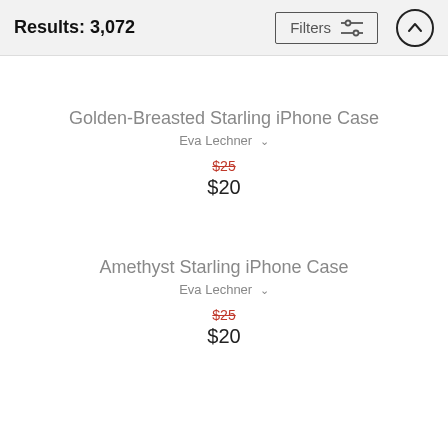Results: 3,072
Golden-Breasted Starling iPhone Case
Eva Lechner
$25 $20
Amethyst Starling iPhone Case
Eva Lechner
$25 $20